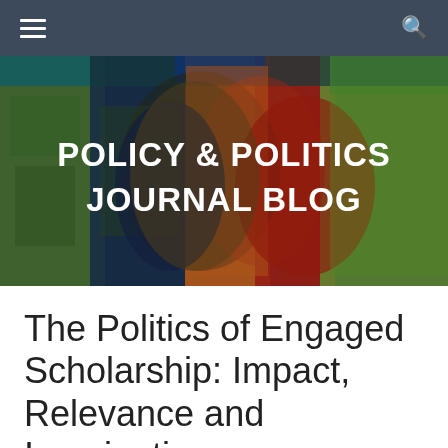☰  🔍
[Figure (illustration): Colorful pop-art style banner image showing a silhouetted face profile in multiple overlapping colors (green, orange, red, teal, navy, olive) forming a collage. White bold text overlay reads POLICY & POLITICS JOURNAL BLOG.]
POLICY & POLITICS JOURNAL BLOG
The Politics of Engaged Scholarship: Impact, Relevance and Imagination